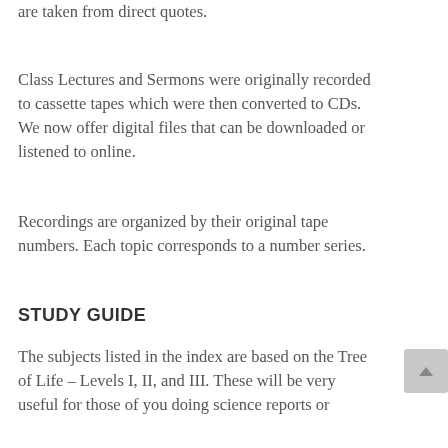are taken from direct quotes.
Class Lectures and Sermons were originally recorded to cassette tapes which were then converted to CDs. We now offer digital files that can be downloaded or listened to online.
Recordings are organized by their original tape numbers. Each topic corresponds to a number series.
STUDY GUIDE
The subjects listed in the index are based on the Tree of Life – Levels I, II, and III. These will be very useful for those of you doing science reports or